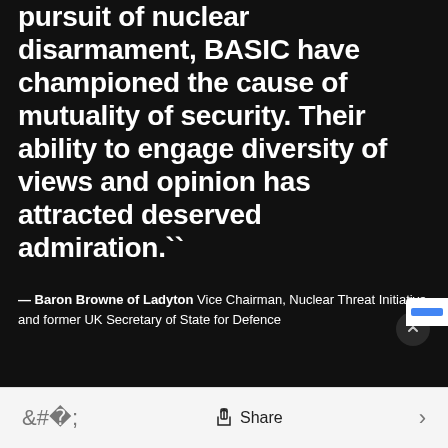...For about thirty years, in the pursuit of nuclear disarmament, BASIC have championed the cause of mutuality of security. Their ability to engage diversity of views and opinion has attracted deserved admiration.``
— Baron Browne of Ladyton Vice Chairman, Nuclear Threat Initiative and former UK Secretary of State for Defence
< Share >